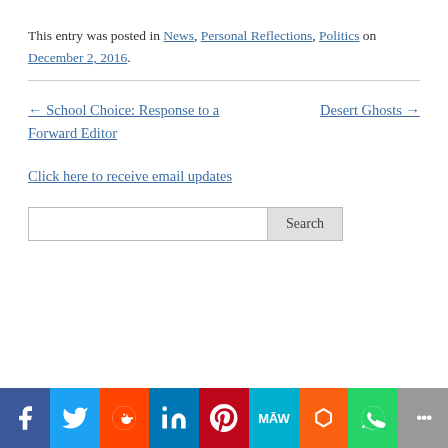This entry was posted in News, Personal Reflections, Politics on December 2, 2016.
← School Choice: Response to a Forward Editor
Desert Ghosts →
Click here to receive email updates
Search